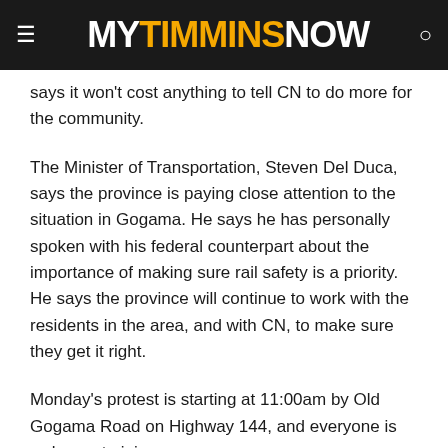MY TIMMINS NOW
says it won't cost anything to tell CN to do more for the community.
The Minister of Transportation, Steven Del Duca, says the province is paying close attention to the situation in Gogama. He says he has personally spoken with his federal counterpart about the importance of making sure rail safety is a priority. He says the province will continue to work with the residents in the area, and with CN, to make sure they get it right.
Monday's protest is starting at 11:00am by Old Gogama Road on Highway 144, and everyone is welcome to join.
Previous stories: